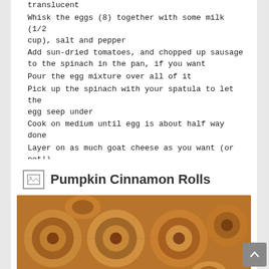translucent
Whisk the eggs (8) together with some milk (1/2 cup), salt and pepper
Add sun-dried tomatoes, and chopped up sausage to the spinach in the pan, if you want
Pour the egg mixture over all of it
Pick up the spinach with your spatula to let the egg seep under
Cook on medium until egg is about half way done
Layer on as much goat cheese as you want (or not!)
Pop into the preheated oven (400F) for about 15 minutes
Done when the egg is cooked through!
06/13   admin   Leave a comment
Pumpkin Cinnamon Rolls
[Figure (photo): Photo of cinnamon rolls, golden brown swirled pastries viewed from above]